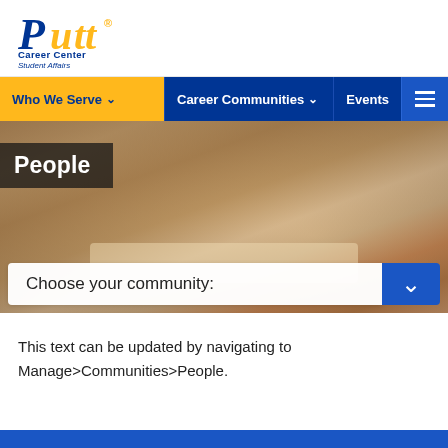Pitt Career Center Student Affairs
[Figure (screenshot): Navigation bar with 'Who We Serve', 'Career Communities', 'Events' menu items and hamburger icon]
[Figure (photo): Hero image of people's hands on a desk with tools, with 'People' title overlay and 'Choose your community:' dropdown bar]
This text can be updated by navigating to Manage>Communities>People.